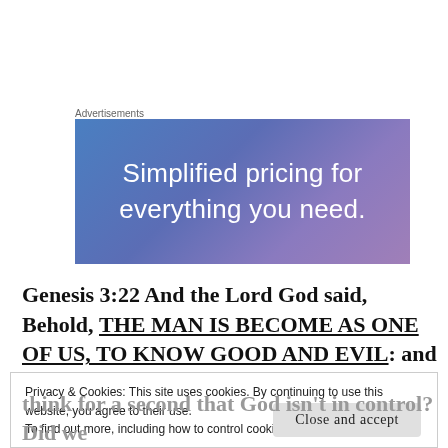Advertisements
[Figure (other): Advertisement banner with gradient background (blue to purple) reading 'Simplified pricing for everything you need.']
Genesis 3:22 And the Lord God said, Behold, THE MAN IS BECOME AS ONE OF US, TO KNOW GOOD AND EVIL: and now, lest he put forth his hand, and take also of the tree of life, and eat, and live
Privacy & Cookies: This site uses cookies. By continuing to use this website, you agree to their use.
To find out more, including how to control cookies, see here: Cookie Policy
Close and accept
think for a second that God isn't in control? Did we